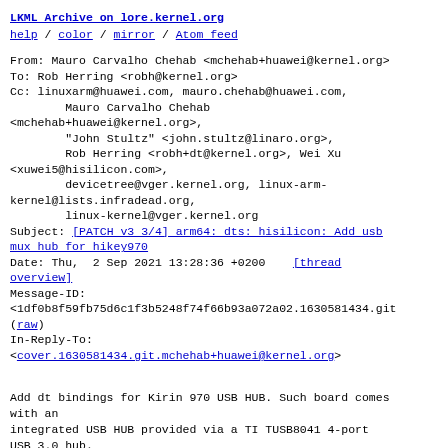LKML Archive on lore.kernel.org
help / color / mirror / Atom feed
From: Mauro Carvalho Chehab <mchehab+huawei@kernel.org>
To: Rob Herring <robh@kernel.org>
Cc: linuxarm@huawei.com, mauro.chehab@huawei.com,
        Mauro Carvalho Chehab
<mchehab+huawei@kernel.org>,
        "John Stultz" <john.stultz@linaro.org>,
        Rob Herring <robh+dt@kernel.org>, Wei Xu
<xuwei5@hisilicon.com>,
        devicetree@vger.kernel.org, linux-arm-
kernel@lists.infradead.org,
        linux-kernel@vger.kernel.org
Subject: [PATCH v3 3/4] arm64: dts: hisilicon: Add usb mux hub for hikey970
Date: Thu,  2 Sep 2021 13:28:36 +0200    [thread overview]
Message-ID:
<1df0b8f59fb75d6c1f3b5248f74f66b93a072a02.1630581434.git
(raw)
In-Reply-To:
<cover.1630581434.git.mchehab+huawei@kernel.org>
Add dt bindings for Kirin 970 USB HUB. Such board comes with an
integrated USB HUB provided via a TI TUSB8041 4-port
USB 3.0 hub.
Signed-off-by: Mauro Carvalho Chehab